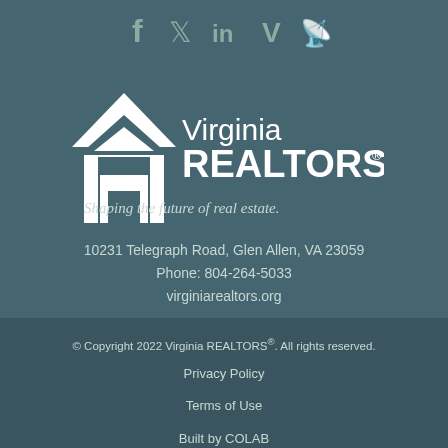[Figure (logo): Social media icons: Facebook, Twitter, LinkedIn, Vimeo, RSS]
[Figure (logo): Virginia REALTORS logo with house icon and tagline: Shaping the future of real estate.]
10231 Telegraph Road, Glen Allen, VA 23059
Phone: 804-264-5033
virginiarealtors.org
© Copyright 2022 Virginia REALTORS®. All rights reserved.
Privacy Policy
Terms of Use
Built by COLAB